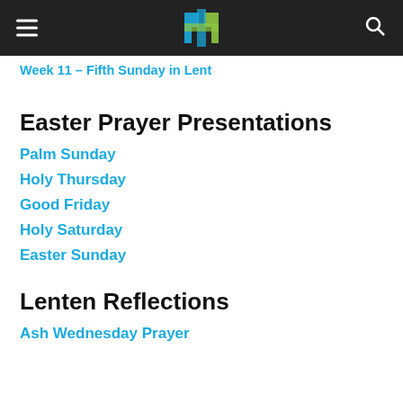Week 11 – Fifth Sunday in Lent
Easter Prayer Presentations
Palm Sunday
Holy Thursday
Good Friday
Holy Saturday
Easter Sunday
Lenten Reflections
Ash Wednesday Prayer